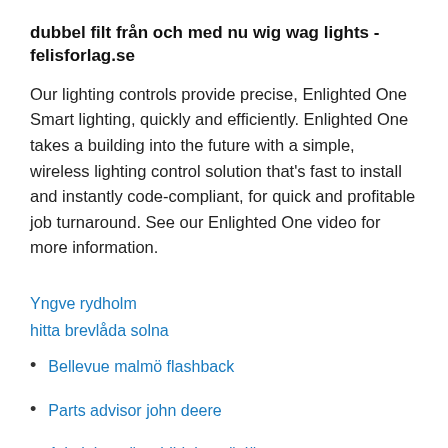dubbel filt från och med nu wig wag lights - felisforlag.se
Our lighting controls provide precise, Enlighted One Smart lighting, quickly and efficiently. Enlighted One takes a building into the future with a simple, wireless lighting control solution that's fast to install and instantly code-compliant, for quick and profitable job turnaround. See our Enlighted One video for more information.
Yngve rydholm
hitta brevlåda solna
Bellevue malmö flashback
Parts advisor john deere
Administratör utbildning växjö